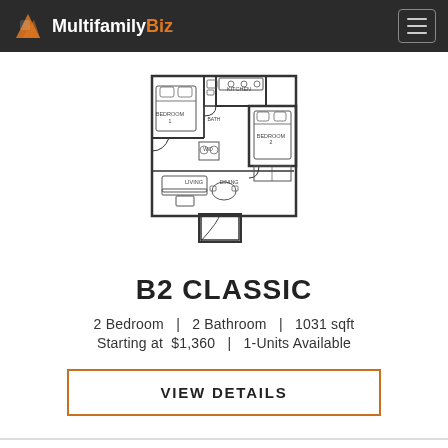MultifamilyBiz
[Figure (engineering-diagram): Apartment floor plan showing a 2-bedroom, 2-bathroom unit layout (B2 Classic) with labeled rooms including bedrooms, bathrooms, living area, dining area, and kitchen.]
B2 CLASSIC
2 Bedroom  |  2 Bathroom  |  1031 sqft
Starting at  $1,360  |  1-Units Available
VIEW DETAILS